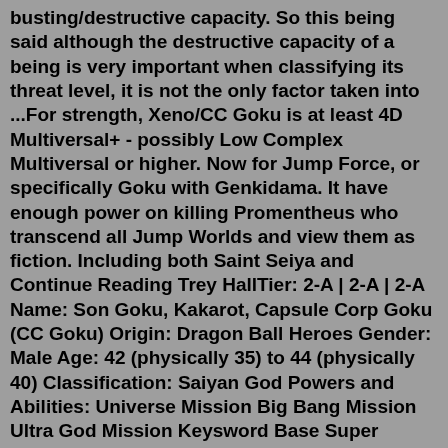busting/destructive capacity. So this being said although the destructive capacity of a being is very important when classifying its threat level, it is not the only factor taken into ...For strength, Xeno/CC Goku is at least 4D Multiversal+ - possibly Low Complex Multiversal or higher. Now for Jump Force, or specifically Goku with Genkidama. It have enough power on killing Promentheus who transcend all Jump Worlds and view them as fiction. Including both Saint Seiya and Continue Reading Trey HallTier: 2-A | 2-A | 2-A Name: Son Goku, Kakarot, Capsule Corp Goku (CC Goku) Origin: Dragon Ball Heroes Gender: Male Age: 42 (physically 35) to 44 (physically 40) Classification: Saiyan God Powers and Abilities: Universe Mission Big Bang Mission Ultra God Mission Keysword Base Super Saiyan (Berserk) Super Saiyan God & Blue Ultra InstinctOriginally based from OnePunch-Man's danger levels, this tier system will be provided to give an overall idea of the threat the being overall represents in combat. Note that this is also based from other